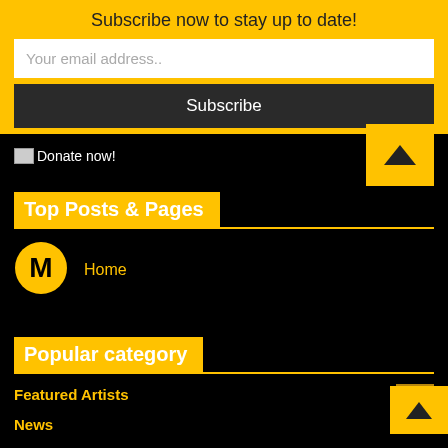Subscribe now to stay up to date!
Your email address..
Subscribe
[Figure (illustration): Donate now! image/text link]
Top Posts & Pages
[Figure (logo): Circular M logo icon]
Home
Popular category
Featured Artists  51
News  33